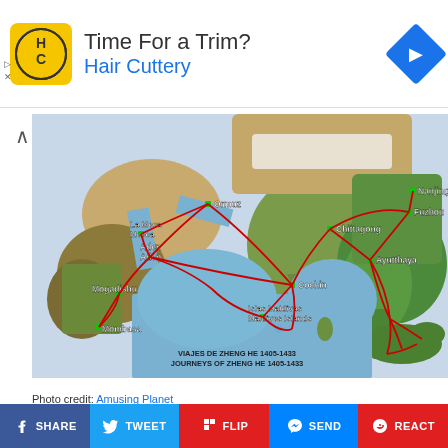[Figure (other): Hair Cuttery advertisement banner with logo, 'Time For a Trim?' text and navigation icon]
[Figure (map): Map showing Journeys of Zheng He 1405-1433 (Viajes de Zheng He 1405-1433) across the Indian Ocean and South China Sea, with red route lines connecting cities: Nanjing, Fuzhou, Ayutthaya, Chittagong, Cochin, Islas Maldivas/Maldives Islands, Ormuz, La Meca/Mecca, Aden, Mogadishu, Mombasa]
Photo credit: Amusing Planet
The ships were built for stability.
[Figure (other): Social sharing bar with buttons: SHARE (Facebook), TWEET (Twitter), FLIP (Flipboard), SEND (Messenger), REACT]